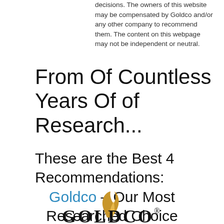decisions. The owners of this website may be compensated by Goldco and/or any other company to recommend them. The content on this webpage may not be independent or neutral.
From Of Countless Years Of of Research...
These are the Best 4 Recommendations:
Goldco – Our Most Researched Choice
[Figure (logo): Goldco logo with golden flame/leaf graphic above the word GOLDCO in bold serif letters with registered trademark symbol]